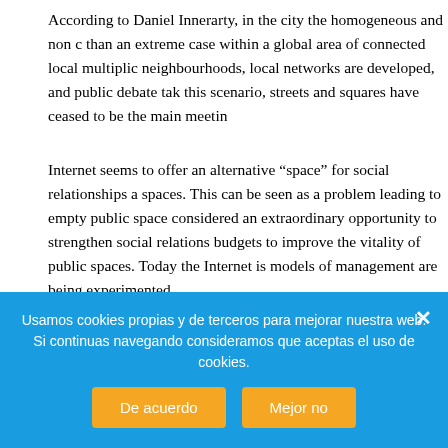According to Daniel Innerarty, in the city the homogeneous and non c than an extreme case within a global area of connected local multiplic neighbourhoods, local networks are developed, and public debate tak this scenario, streets and squares have ceased to be the main meetin
Internet seems to offer an alternative “space” for social relationships spaces. This can be seen as a problem leading to empty public space considered an extraordinary opportunity to strengthen social relations budgets to improve the vitality of public spaces. Today the Internet is models of management are being experimented.
I believe it is important to reconsider the city as something built by ev as the ground where this process can take place. Today we have tool as a catalyst for participatory dynamics that were previously impossib increasing examples of processes of creation by citizens, linked to th undeniable that Internet is a key factor contributing to changing the s it is obvious that someone might ask for dialogue spaces with a tabula r
Usamos cookies propias y de terceros para mejorar nuestra web. Si continuas navegando consideramos que aceptas el uso de cookies.
De acuerdo
Mejor no